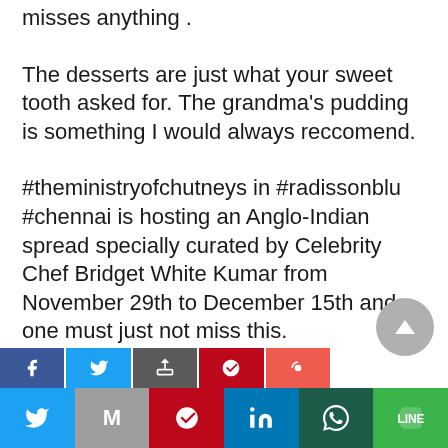misses anything .
The desserts are just what your sweet tooth asked for. The grandma’s pudding is something I would always reccomend.
#theministryofchutneys in #radissonblu #chennai is hosting an Anglo-Indian spread specially curated by Celebrity Chef Bridget White Kumar from November 29th to December 15th and one must just not miss this.
[Figure (other): Social share buttons row: Facebook, Twitter, share, Pinterest, Google+]
[Figure (other): Bottom social share bar: Twitter, Gmail/M, Pinterest, LinkedIn, WhatsApp, LINE]